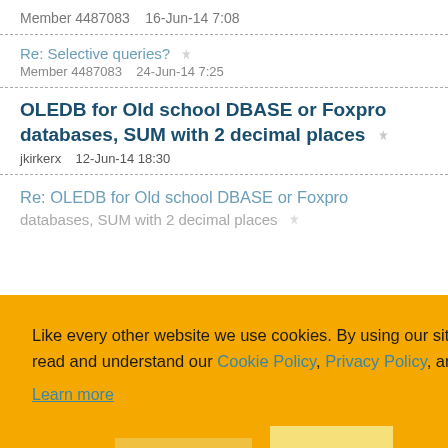Member 4487083   16-Jun-14 7:08
Re: Selective queries?
Member 4487083   24-Jun-14 7:25
OLEDB for Old school DBASE or Foxpro databases, SUM with 2 decimal places
jkirkerx   12-Jun-14 18:30
Re: OLEDB for Old school DBASE or Foxpro databases, SUM with 2 decimal places
Like every other website we use cookies. By using our site you acknowledge that you have read and understand our Cookie Policy, Privacy Policy, and our Terms of Service. Learn more
Ask me later
Decline
Allow cookies